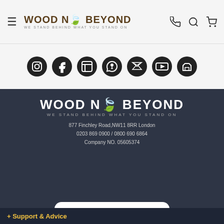[Figure (logo): Wood N Beyond logo with hamburger menu, phone, search, and cart icons in header]
[Figure (infographic): Row of social media icons: Instagram, Facebook, LinkedIn, Pinterest, Twitter, YouTube, Houzz]
[Figure (logo): Wood N Beyond footer logo - white text on dark background]
877 Finchley Road,NW11 8RR London
0203 869 0900 / 0800 690 6864
Company NO. 05605374
[Figure (logo): FSC certification badge with tree logo, FSC® C147698, www.fsc.org, The mark of responsible forestry, and text: Look for our FSC® - certified products]
+ Support & Advice